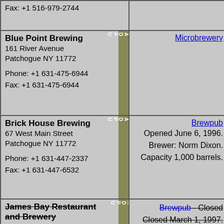Fax: +1 516-979-2744
Blue Point Brewing
161 River Avenue
Patchogue NY 11772

Phone: +1 631-475-6944
Fax: +1 631-475-6944
Microbrewery
Brick House Brewing
67 West Main Street
Patchogue NY 11772

Phone: +1 631-447-2337
Fax: +1 631-447-6532
Brewpub
Opened June 6, 1996. Brewer: Norm Dixon. Capacity 1,000 barrels.
James Bay Restaurant and Brewery
154 West Broadway
Port Jefferson NY 11777
Brewpub - Closed
Closed March 1, 1997. Capacity 1,500 barrels.